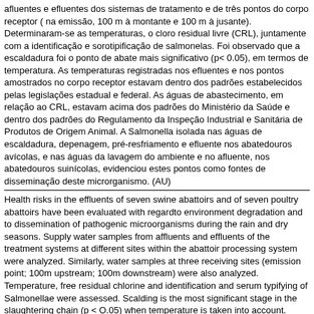afluentes e efluentes dos sistemas de tratamento e de três pontos do corpo receptor ( na emissão, 100 m à montante e 100 m à jusante). Determinaram-se as temperaturas, o cloro residual livre (CRL), juntamente com a identificação e sorotipificação de salmonelas. Foi observado que a escaldadura foi o ponto de abate mais significativo (p< 0.05), em termos de temperatura. As temperaturas registradas nos efluentes e nos pontos amostrados no corpo receptor estavam dentro dos padrões estabelecidos pelas legislações estadual e federal. As águas de abastecimento, em relação ao CRL, estavam acima dos padrões do Ministério da Saúde e dentro dos padrões do Regulamento da Inspeção Industrial e Sanitária de Produtos de Origem Animal. A Salmonella isolada nas águas de escaldadura, depenagem, pré-resfriamento e efluente nos abatedouros avícolas, e nas águas da lavagem do ambiente e no afluente, nos abatedouros suinícolas, evidenciou estes pontos como fontes de disseminação deste microrganismo. (AU)
Health risks in the effluents of seven swine abattoirs and of seven poultry abattoirs have been evaluated with regardto environment degradation and to dissemination of pathogenic microorganisms during the rain and dry seasons. Supply water samples from affluents and effluents of the treatment systems at different sites within the abattoir processing system were analyzed. Similarly, water samples at three receiving sites (emission point; 100m upstream; 100m downstream) were also analyzed. Temperature, free residual chlorine and identification and serum typifying of Salmonellae were assessed. Scalding is the most significant stage in the slaughtering chain (p < O.05) when temperature is taken into account. Temperatures at effluents and at the sampled sites in the water bodies were according to state and federal legislation standards. Supply waters were above FRC standards ruled by the Ministry ofHealth and within limits imposed by the Industrial and Sanitary Inspection Regulations for Animal Products. Salmonella isolated in scalding, plucking, precooling tanks and the effluent of poultry abattoirs and in water used in facilities cleaning and in affluent of swine abaitoirs showed that above sites are the dissemination sources of the microorganism. (AU)
Biblioteca responsável: BR526.1
Localização: BR68.1